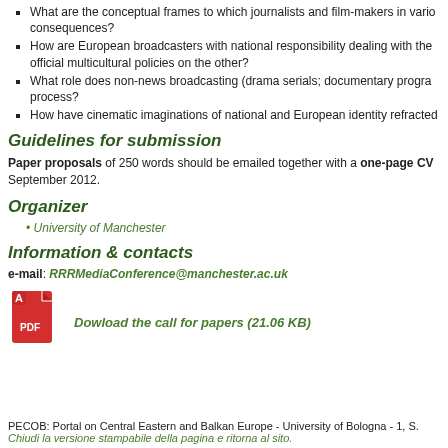What are the conceptual frames to which journalists and film-makers in various consequences?
How are European broadcasters with national responsibility dealing with the official multicultural policies on the other?
What role does non-news broadcasting (drama serials; documentary programs process?
How have cinematic imaginations of national and European identity refracted
Guidelines for submission
Paper proposals of 250 words should be emailed together with a one-page CV September 2012.
Organizer
University of Manchester
Information & contacts
e-mail: RRRMediaConference@manchester.ac.uk
[Figure (other): PDF file icon with red document and PDF label, followed by download link text]
PECOB: Portal on Central Eastern and Balkan Europe - University of Bologna - 1, S. Chiudi la versione stampabile della pagina e ritorna al sito.